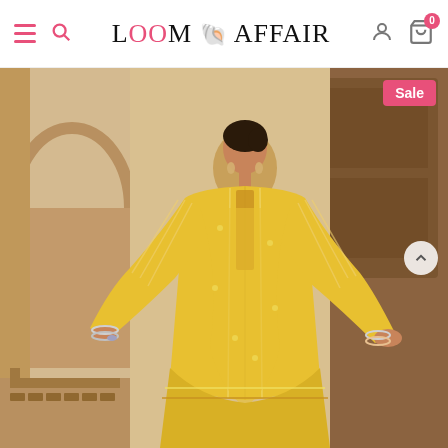Loom Affair - navigation header with hamburger menu, search, logo, user account, and cart icons
[Figure (photo): A woman wearing a yellow embroidered salwar kameez suit standing in an ornate palace-style setting with carved wooden doors and arched architecture. A 'Sale' badge is shown in the top-right corner of the image.]